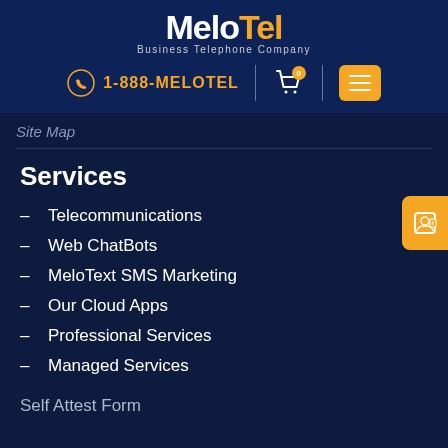MeloTel Business Telephone Company | 1-888-MELOTEL
Site Map
Services
Telecommunications
Web ChatBots
MeloText SMS Marketing
Our Cloud Apps
Professional Services
Managed Services
Self Attest Form